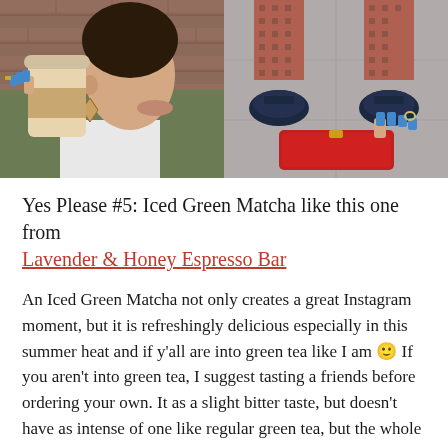[Figure (photo): Two side-by-side photos: left shows a woman with blue nail polish drinking from a coffee cup with a brown sleeve, wearing a geometric earring and green jacket; right shows a person holding a red clutch bag, wearing patterned pants and navy loafers, viewed from above.]
Yes Please #5: Iced Green Matcha like this one from Lavender & Honey Espresso Bar
An Iced Green Matcha not only creates a great Instagram moment, but it is refreshingly delicious especially in this summer heat and if y'all are into green tea like I am 🙂 If you aren't into green tea, I suggest tasting a friends before ordering your own. It as a slight bitter taste, but doesn't have as intense of one like regular green tea, but the whole milk helps to add some sweetness (not too sweet). A plus when ordering an Iced Green Matcha is